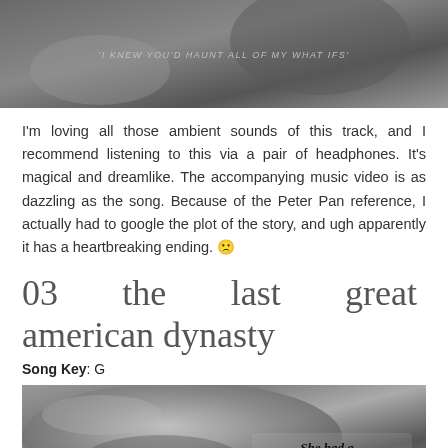[Figure (photo): Black and white photo with text overlay reading 'I KNEW YOU'D HAUNT ALL OF MY WHAT IFS']
I'm loving all those ambient sounds of this track, and I recommend listening to this via a pair of headphones. It's magical and dreamlike. The accompanying music video is as dazzling as the song. Because of the Peter Pan reference, I actually had to google the plot of the story, and ugh apparently it has a heartbreaking ending. 🙁
03 the last great american dynasty
Song Key: G
[Figure (photo): Black and white photo of a person in a field with text overlay reading 'She had a marvelous time ruining everything']